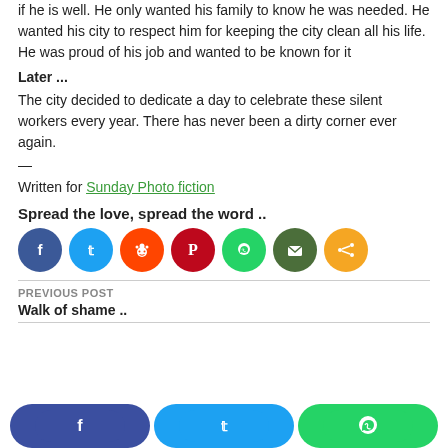if he is well. He only wanted his family to know he was needed. He wanted his city to respect him for keeping the city clean all his life. He was proud of his job and wanted to be known for it
Later ...
The city decided to dedicate a day to celebrate these silent workers every year. There has never been a dirty corner ever again.
—
Written for Sunday Photo fiction
Spread the love, spread the word ..
[Figure (infographic): Row of 7 social media share icon circles: Facebook (dark blue), Twitter (light blue), Reddit (orange), Pinterest (red), WhatsApp (green), Email (dark green/olive), Share (orange)]
PREVIOUS POST
Walk of shame ..
[Figure (infographic): Bottom share bar with three rounded buttons: Facebook (dark blue), Twitter (light blue), WhatsApp (green)]